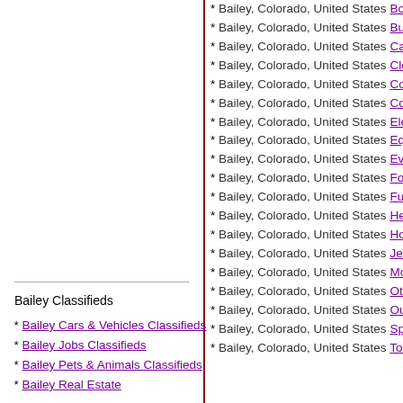* Bailey, Colorado, United States Books Cla...
* Bailey, Colorado, United States Business...
* Bailey, Colorado, United States Cameras...
* Bailey, Colorado, United States Clothes &...
* Bailey, Colorado, United States Collectible...
* Bailey, Colorado, United States Computer...
* Bailey, Colorado, United States Electronic...
* Bailey, Colorado, United States Equipmen...
* Bailey, Colorado, United States Event Tick...
* Bailey, Colorado, United States For Babie...
* Bailey, Colorado, United States Furniture &...
* Bailey, Colorado, United States Health & B...
* Bailey, Colorado, United States Home App...
* Bailey, Colorado, United States Jewelry &...
* Bailey, Colorado, United States Movies &...
* Bailey, Colorado, United States Other Cla...
* Bailey, Colorado, United States Outdoor &...
* Bailey, Colorado, United States Sports & B...
* Bailey, Colorado, United States Toys & Ga...
Bailey Classifieds
* Bailey Cars & Vehicles Classifieds
* Bailey Jobs Classifieds
* Bailey Pets & Animals Classifieds
* Bailey Real Estate